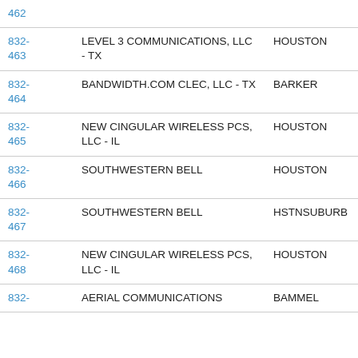| Number | Carrier | City |
| --- | --- | --- |
| 832-462 |  |  |
| 832-463 | LEVEL 3 COMMUNICATIONS, LLC - TX | HOUSTON |
| 832-464 | BANDWIDTH.COM CLEC, LLC - TX | BARKER |
| 832-465 | NEW CINGULAR WIRELESS PCS, LLC - IL | HOUSTON |
| 832-466 | SOUTHWESTERN BELL | HOUSTON |
| 832-467 | SOUTHWESTERN BELL | HSTNSUBURB |
| 832-468 | NEW CINGULAR WIRELESS PCS, LLC - IL | HOUSTON |
| 832- | AERIAL COMMUNICATIONS | BAMMEL |